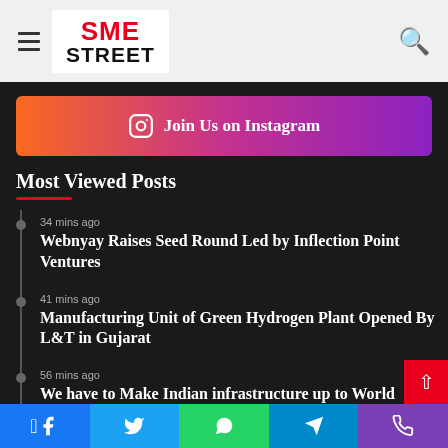SME STREET
[Figure (infographic): Instagram join us banner with gradient background orange to purple]
Most Viewed Posts
34 mins ago — Webnyay Raises Seed Round Led by Inflection Point Ventures
41 mins ago — Manufacturing Unit of Green Hydrogen Plant Opened By L&T in Gujarat
56 mins ago — We have to Make Indian infrastructure up to World
Facebook | Twitter | WhatsApp | Telegram | Phone